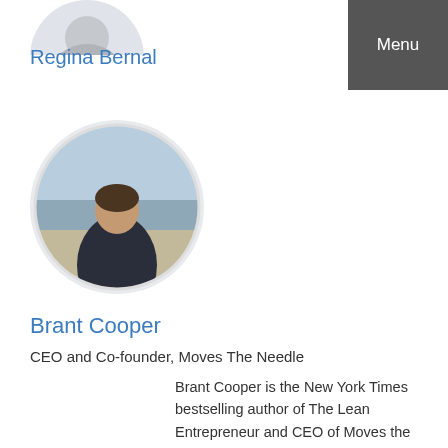[Figure (photo): Circular profile photo of Regina Bernal, partially visible at top of page]
Regina Bernal
[Figure (photo): Circular profile photo of Brant Cooper, a person on a beach with water and coastline in background]
Brant Cooper
CEO and Co-founder, Moves The Needle
Brant Cooper is the New York Times bestselling author of The Lean Entrepreneur and CEO of Moves the Needle. With over two decades of expertise helping companies bring innovative products to market, he blends agile, design thinking, and lean methodologies to ignite